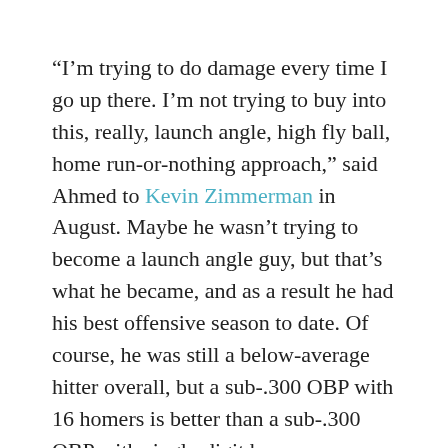“I’m trying to do damage every time I go up there. I’m not trying to buy into this, really, launch angle, high fly ball, home run-or-nothing approach,” said Ahmed to Kevin Zimmerman in August. Maybe he wasn’t trying to become a launch angle guy, but that’s what he became, and as a result he had his best offensive season to date. Of course, he was still a below-average hitter overall, but a sub-.300 OBP with 16 homers is better than a sub-.300 OBP with single-digit homers.
Contract status: Ahmed has two years of team control remaining and MLBTR projects a $3.1M salary in 2019. Like I said, the D’Backs are in selling mode now, so I’m certain they’re at least